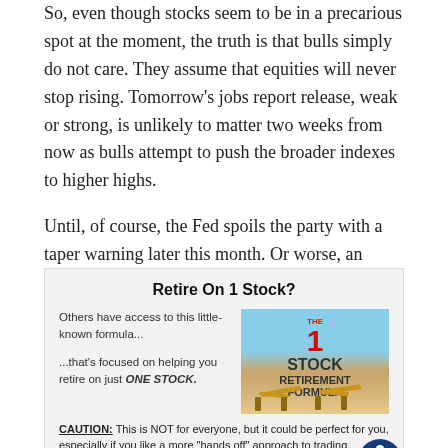So, even though stocks seem to be in a precarious spot at the moment, the truth is that bulls simply do not care. They assume that equities will never stop rising. Tomorrow's jobs report release, weak or strong, is unlikely to matter two weeks from now as bulls attempt to push the broader indexes to higher highs.
Until, of course, the Fed spoils the party with a taper warning later this month. Or worse, an official taper announcement.
[Figure (infographic): Advertisement box with light gray background titled 'Retire On 1 Stock?' featuring text about a 1-Stock Retirement Formula, an image of two beach chairs with ocean in background and the text '1 STOCK RETIREMENT FORMULA', body text including 'Others have access to this little-known formula...', '...that's focused on helping you retire on just ONE STOCK.', 'CAUTION: This is NOT for everyone, but it could be perfect for you especially if you like a more "hands off" approach to trading.', and a blue link 'Click here to download the 1-Stock Retirement Formula', plus an accessibility icon in the bottom right.]